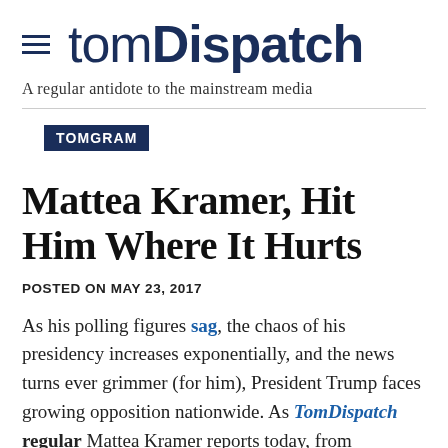TomDispatch — A regular antidote to the mainstream media
TOMGRAM
Mattea Kramer, Hit Him Where It Hurts
POSTED ON MAY 23, 2017
As his polling figures sag, the chaos of his presidency increases exponentially, and the news turns ever grimmer (for him), President Trump faces growing opposition nationwide. As TomDispatch regular Mattea Kramer reports today, from boycotting businesses carrying his